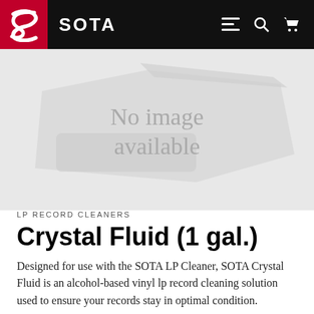SOTA
[Figure (photo): Product placeholder image showing 'No image available' text on a light grey background with a stylized envelope/box shape]
LP RECORD CLEANERS
Crystal Fluid (1 gal.)
Designed for use with the SOTA LP Cleaner, SOTA Crystal Fluid is an alcohol-based vinyl lp record cleaning solution used to ensure your records stay in optimal condition.